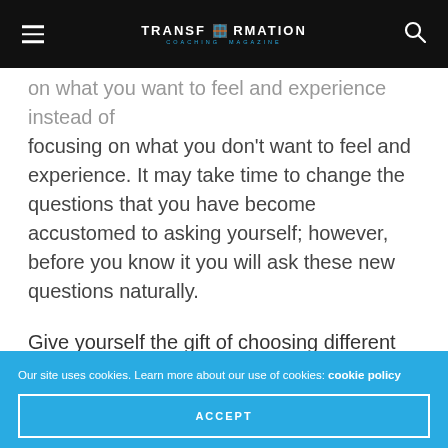TRANSFORMATION COACHING MAGAZINE
on what you want to feel and experience instead of focusing on what you don't want to feel and experience. It may take time to change the questions that you have become accustomed to asking yourself; however, before you know it you will ask these new questions naturally.
Give yourself the gift of choosing different “what ifs.”
Our site uses cookies. Learn more about our use of cookies: cookie policy
ACCEPT